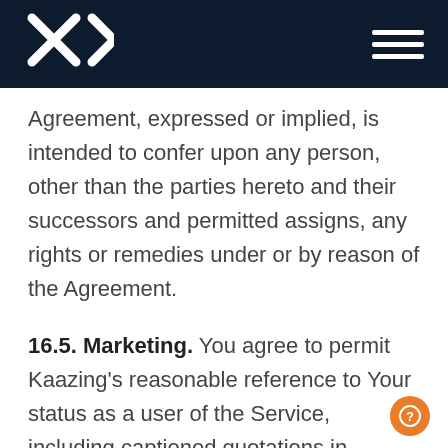Kaazing logo and navigation menu
Agreement, expressed or implied, is intended to confer upon any person, other than the parties hereto and their successors and permitted assigns, any rights or remedies under or by reason of the Agreement.
16.5. Marketing. You agree to permit Kaazing's reasonable reference to Your status as a user of the Service, including captioned quotations in product literature or advertisements, websites, articles, press releases, marketing literature, presentations and the like, and occasional use as a reference for potential new users.